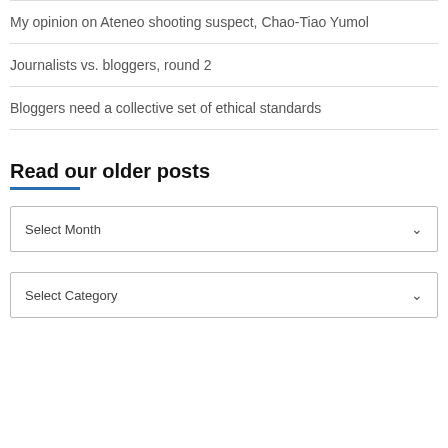My opinion on Ateneo shooting suspect, Chao-Tiao Yumol
Journalists vs. bloggers, round 2
Bloggers need a collective set of ethical standards
Read our older posts
Select Month
Select Category